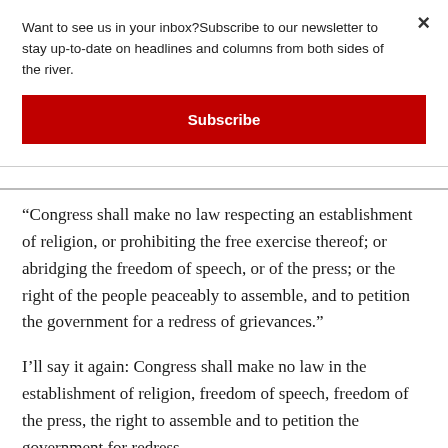Want to see us in your inbox?Subscribe to our newsletter to stay up-to-date on headlines and columns from both sides of the river.
Subscribe
“Congress shall make no law respecting an establishment of religion, or prohibiting the free exercise thereof; or abridging the freedom of speech, or of the press; or the right of the people peaceably to assemble, and to petition the government for a redress of grievances.”
I’ll say it again: Congress shall make no law in the establishment of religion, freedom of speech, freedom of the press, the right to assemble and to petition the government for redress.
Five items. No laws